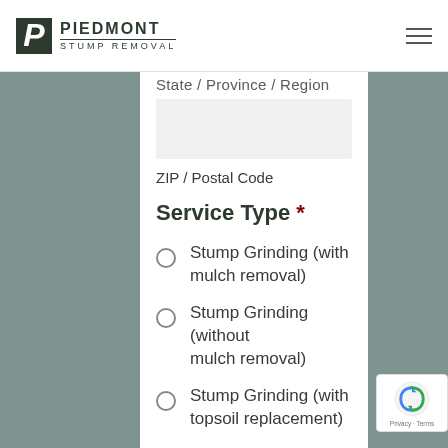Piedmont Stump Removal
State / Province / Region
ZIP / Postal Code
Service Type *
Stump Grinding (with mulch removal)
Stump Grinding (without mulch removal)
Stump Grinding (with topsoil replacement)